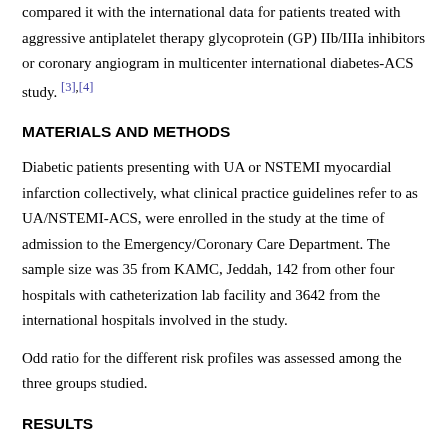compared it with the international data for patients treated with aggressive antiplatelet therapy glycoprotein (GP) IIb/IIIa inhibitors or coronary angiogram in multicenter international diabetes-ACS study. [3],[4]
MATERIALS AND METHODS
Diabetic patients presenting with UA or NSTEMI myocardial infarction collectively, what clinical practice guidelines refer to as UA/NSTEMI-ACS, were enrolled in the study at the time of admission to the Emergency/Coronary Care Department. The sample size was 35 from KAMC, Jeddah, 142 from other four hospitals with catheterization lab facility and 3642 from the international hospitals involved in the study.
Odd ratio for the different risk profiles was assessed among the three groups studied.
RESULTS
Majority (52%) of KAMC patients had TIMI score 3, compared with 29% and 21% in KSA and the international centers, respectively. 26% of the international